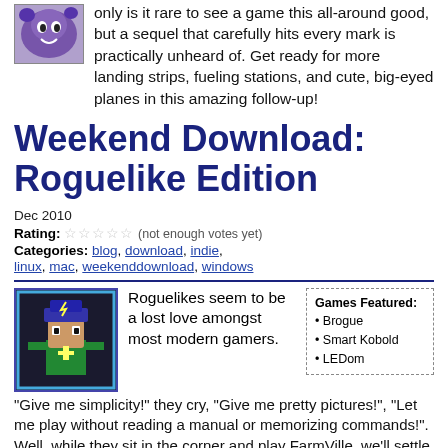only is it rare to see a game this all-around good, but a sequel that carefully hits every mark is practically unheard of. Get ready for more landing strips, fueling stations, and cute, big-eyed planes in this amazing follow-up!
Weekend Download: Roguelike Edition
Dec 2010
Rating: ☆☆☆☆☆ (not enough votes yet)
Categories: blog, download, indie, linux, mac, weekenddownload, windows
[Figure (illustration): Pixel art character - person in green with blue hat with lightning bolt, on dark background with cyan border]
Roguelikes seem to be a lost love amongst most modern gamers.
Games Featured: • Brogue • Smart Kobold • LEDom
"Give me simplicity!" they cry, "Give me pretty pictures!", "Let me play without reading a manual or memorizing commands!". Well, while they sit in the corner and play FarmVille, we'll settle down with our deliciously intriguing dungeon crawling RPGs of yore. Even though the glory days of Nethack are gone, the roguelike is alive and very